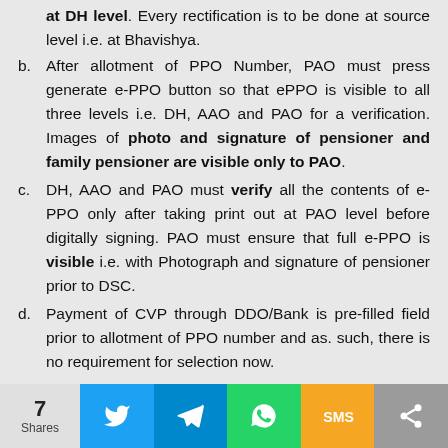at DH level. Every rectification is to be done at source level i.e. at Bhavishya.
After allotment of PPO Number, PAO must press generate e-PPO button so that ePPO is visible to all three levels i.e. DH, AAO and PAO for a verification. Images of photo and signature of pensioner and family pensioner are visible only to PAO.
DH, AAO and PAO must verify all the contents of e-PPO only after taking print out at PAO level before digitally signing. PAO must ensure that full e-PPO is visible i.e. with Photograph and signature of pensioner prior to DSC.
Payment of CVP through DDO/Bank is pre-filled field prior to allotment of PPO number and as. such, there is no requirement for selection now.
7 Shares